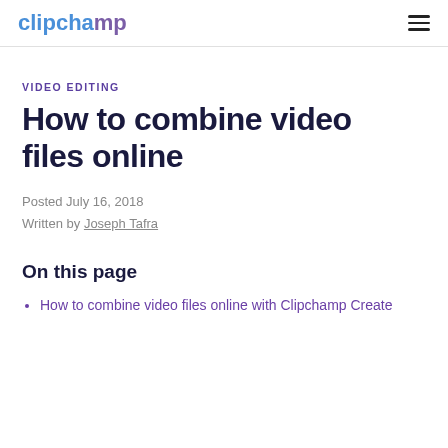clipchamp
VIDEO EDITING
How to combine video files online
Posted July 16, 2018
Written by Joseph Tafra
On this page
How to combine video files online with Clipchamp Create